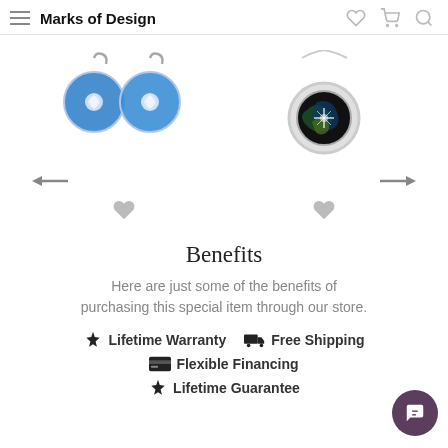Marks of Design
[Figure (photo): Blue enamel earrings with crystal centers on silver hooks, shown as a pair]
[Figure (photo): Dark opal/aurora borealis pendant in silver circular bezel on silver chain]
Benefits
Here are just some of the benefits of purchasing this special item through our store.
Lifetime Warranty
Free Shipping
Flexible Financing
Lifetime Guarantee